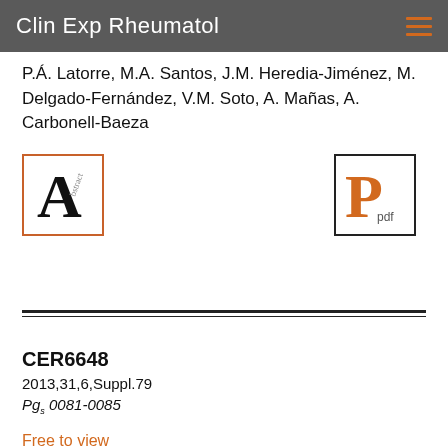Clin Exp Rheumatol
P.Á. Latorre, M.A. Santos, J.M. Heredia-Jiménez, M. Delgado-Fernández, V.M. Soto, A. Mañas, A. Carbonell-Baeza
[Figure (logo): Abstract icon: large serif letter A with 'abstract' text, orange border]
[Figure (logo): PDF icon: large orange letter P with 'pdf' text, black border]
CER6648
2013,31,6,Suppl.79
Pg. 0081-0085
Free to view